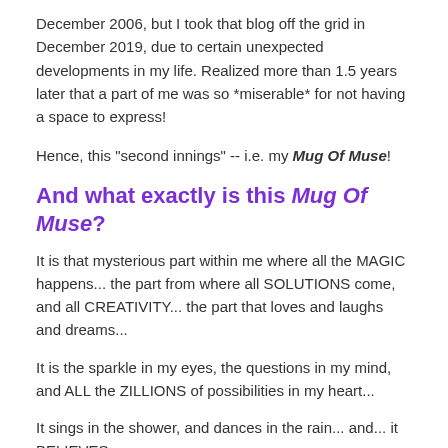December 2006, but I took that blog off the grid in December 2019, due to certain unexpected developments in my life. Realized more than 1.5 years later that a part of me was so *miserable* for not having a space to express!
Hence, this "second innings" -- i.e. my Mug Of Muse!
And what exactly is this Mug Of Muse?
It is that mysterious part within me where all the MAGIC happens... the part from where all SOLUTIONS come, and all CREATIVITY... the part that loves and laughs and dreams...
It is the sparkle in my eyes, the questions in my mind, and ALL the ZILLIONS of possibilities in my heart...
It sings in the shower, and dances in the rain... and... it BELIEVES.